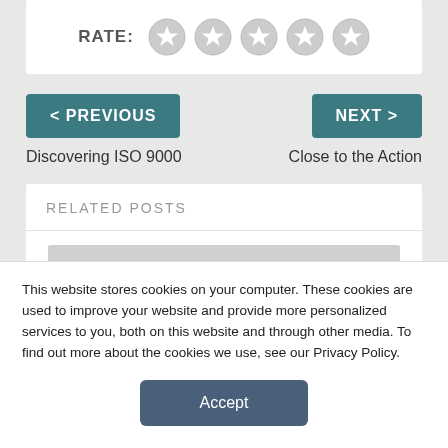RATE: ☆☆☆☆☆
< PREVIOUS
NEXT >
Discovering ISO 9000
Close to the Action
RELATED POSTS
This website stores cookies on your computer. These cookies are used to improve your website and provide more personalized services to you, both on this website and through other media. To find out more about the cookies we use, see our Privacy Policy.
Accept